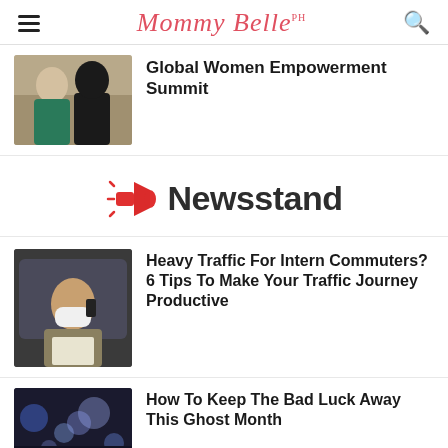Mommy Belle PH
[Figure (photo): Two women posing together, one in teal top, one in black hijab]
Global Women Empowerment Summit
[Figure (logo): Newsstand logo with red megaphone icon and bold Newsstand text]
[Figure (photo): Woman wearing mask talking on phone in a car]
Heavy Traffic For Intern Commuters? 6 Tips To Make Your Traffic Journey Productive
[Figure (photo): Blurry city lights at night scene]
How To Keep The Bad Luck Away This Ghost Month